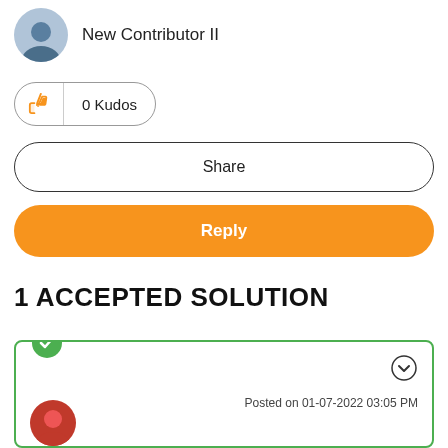[Figure (photo): User avatar circle with person silhouette]
New Contributor II
[Figure (other): Kudos button with thumbs up icon showing 0 Kudos]
Share
Reply
1 ACCEPTED SOLUTION
[Figure (other): Accepted solution card with green checkmark, options chevron icon, posted date and user avatar]
Posted on 01-07-2022 03:05 PM